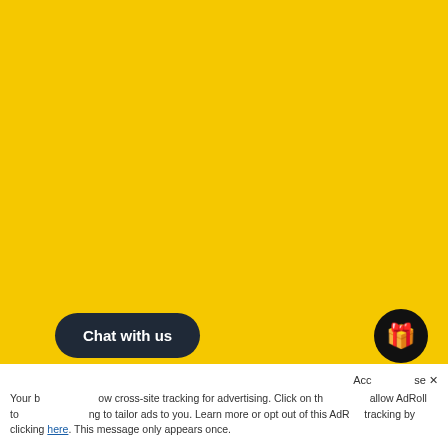Suitical Recovery Suit for Dogs – Black
$44.99
AFP Chill Out Ice Bandana, Large
$12.99
Chat with us
Accept  Close ×
Your browser may not allow cross-site tracking for advertising. Click on the button to allow AdRoll to use cross-site tracking to tailor ads to you. Learn more or opt out of this AdRoll tracking by clicking here. This message only appears once.